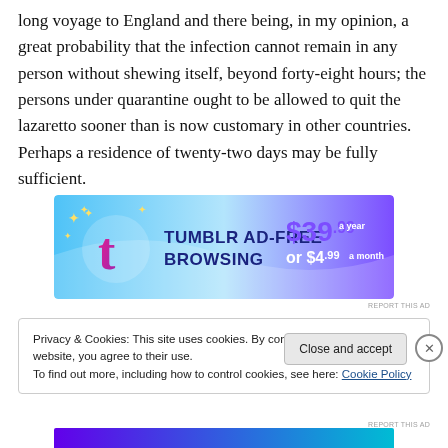long voyage to England and there being, in my opinion, a great probability that the infection cannot remain in any person without shewing itself, beyond forty-eight hours; the persons under quarantine ought to be allowed to quit the lazaretto sooner than is now customary in other countries. Perhaps a residence of twenty-two days may be fully sufficient.
[Figure (screenshot): Tumblr Ad-Free Browsing advertisement banner: $39.99 a year or $4.99 a month]
REPORT THIS AD
Privacy & Cookies: This site uses cookies. By continuing to use this website, you agree to their use.
To find out more, including how to control cookies, see here: Cookie Policy
Close and accept